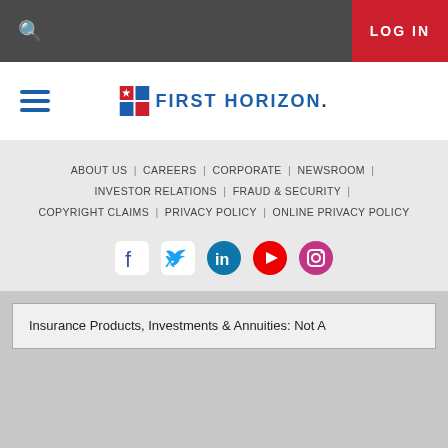LOG IN
[Figure (logo): First Horizon bank logo with star icon and text FIRST HORIZON.]
ABOUT US | CAREERS | CORPORATE | NEWSROOM | INVESTOR RELATIONS | FRAUD & SECURITY | COPYRIGHT CLAIMS | PRIVACY POLICY | ONLINE PRIVACY POLICY
[Figure (infographic): Social media icons: Facebook, Twitter, LinkedIn, YouTube, Instagram]
Insurance Products, Investments & Annuities: Not A